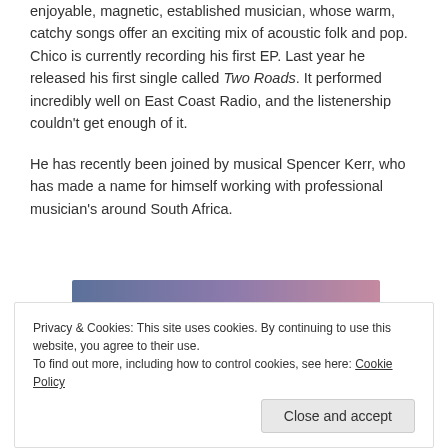enjoyable, magnetic, established musician, whose warm, catchy songs offer an exciting mix of acoustic folk and pop. Chico is currently recording his first EP. Last year he released his first single called Two Roads. It performed incredibly well on East Coast Radio, and the listenership couldn't get enough of it.
He has recently been joined by musical Spencer Kerr, who has made a name for himself working with professional musician's around South Africa.
[Figure (illustration): Gradient image from blue-grey on the left transitioning through purple-pink on the right]
Privacy & Cookies: This site uses cookies. By continuing to use this website, you agree to their use. To find out more, including how to control cookies, see here: Cookie Policy